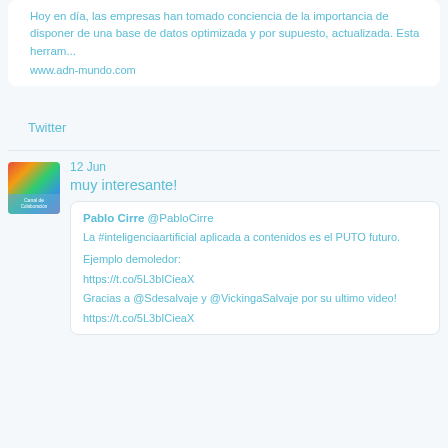Hoy en día, las empresas han tomado conciencia de la importancia de disponer de una base de datos optimizada y por supuesto, actualizada. Esta herram...
www.adn-mundo.com
Twitter
12 Jun
muy interesante!
Pablo Cirre @PabloCirre
La #inteligenciaartificial aplicada a contenidos es el PUTO futuro.

Ejemplo demoledor:

https://t.co/5L3bICieaX

Gracias a @Sdesalvaje y @VickingaSalvaje por su ultimo video!

https://t.co/5L3bICieaX